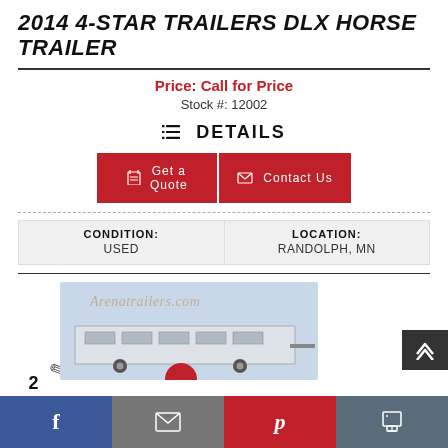2014 4-STAR TRAILERS DLX HORSE TRAILER
Price: Call for Price
Stock #: 12002
DETAILS
Get a Quote
Contact Us
| CONDITION: | LOCATION: |
| --- | --- |
| USED | RANDOLPH, MN |
[Figure (photo): Photo of a horse trailer with Arenatrailers.com watermark]